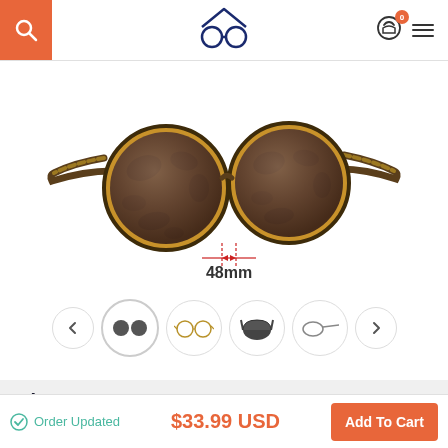Search | Logo | Cart 0 | Menu
[Figure (photo): Tortoiseshell round sunglasses with dark brown gradient lenses, shown with a 48mm dimension annotation across the bridge. Multiple thumbnail views below including lens detail, full product, folded view, and side profile.]
Choose Lens Type
(What's The Difference?)
Regular
Order Updated | $33.99 USD | Add To Cart